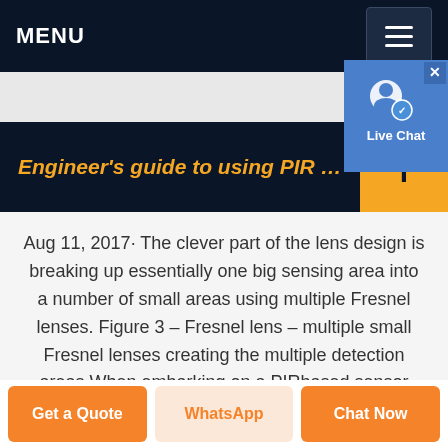MENU
Engineer's guide to using PIR …
Aug 11, 2017· The clever part of the lens design is breaking up essentially one big sensing area into a number of small areas using multiple Fresnel lenses. Figure 3 – Fresnel lens – multiple small Fresnel lenses creating the multiple detection areas When embarking on a PIRbased sensor design engineers should look to use a sensor that
[Figure (screenshot): Live Chat widget overlay in top-right corner with blue background, user icon, and 'Live Chat' label]
Get a Quote | WhatsApp | Chat Now